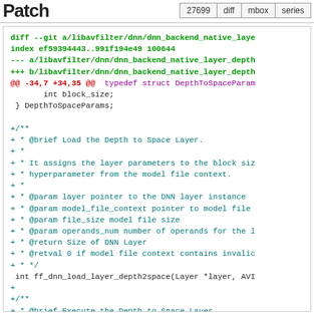Patch  27699  diff  mbox  series
diff --git a/libavfilter/dnn/dnn_backend_native_laye
index ef59394443..991f194e49 100644
--- a/libavfilter/dnn/dnn_backend_native_layer_depth
+++ b/libavfilter/dnn/dnn_backend_native_layer_depth
@@ -34,7 +34,35 @@  typedef struct DepthToSpaceParam
       int block_size;
  } DepthToSpaceParams;

+/**
+ * @brief Load the Depth to Space Layer.
+ *
+ * It assigns the layer parameters to the block siz
+ * hyperparameter from the model file context.
+ *
+ * @param layer pointer to the DNN layer instance
+ * @param model_file_context pointer to model file
+ * @param file_size model file size
+ * @param operands_num number of operands for the l
+ * @return Size of DNN Layer
+ * @retval 0 if model file context contains invalic
+ * */
 int ff_dnn_load_layer_depth2space(Layer *layer, AVI
+
+/**
+ * @brief Execute the Depth to Space Layer.
+ *
+ * It rearranges the input data from depth into spa
+ * form by applying Depth to Space transformation.
+ *